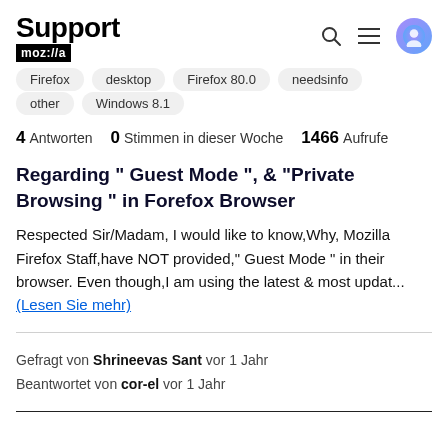Support mozilla
Firefox
desktop
Firefox 80.0
needsinfo
other
Windows 8.1
4 Antworten  0 Stimmen in dieser Woche  1466 Aufrufe
Regarding " Guest Mode ", & "Private Browsing " in Forefox Browser
Respected Sir/Madam, I would like to know,Why, Mozilla Firefox Staff,have NOT provided," Guest Mode " in their browser. Even though,I am using the latest & most updat... (Lesen Sie mehr)
Gefragt von Shrineevas Sant vor 1 Jahr
Beantwortet von cor-el vor 1 Jahr